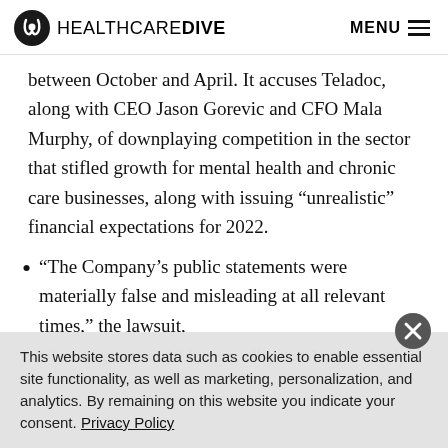HEALTHCAREDIVE  MENU
between October and April. It accuses Teladoc, along with CEO Jason Gorevic and CFO Mala Murphy, of downplaying competition in the sector that stifled growth for mental health and chronic care businesses, along with issuing “unrealistic” financial expectations for 2022.
“The Company’s public statements were materially false and misleading at all relevant times,” the lawsuit, which requests a trial by jury, alleges. “As a result of
This website stores data such as cookies to enable essential site functionality, as well as marketing, personalization, and analytics. By remaining on this website you indicate your consent. Privacy Policy